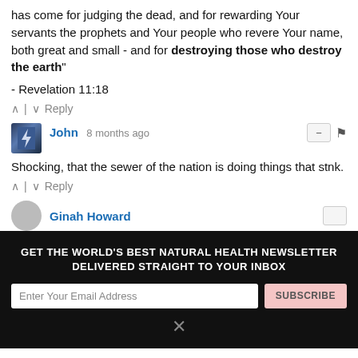has come for judging the dead, and for rewarding Your servants the prophets and Your people who revere Your name, both great and small - and for destroying those who destroy the earth"
- Revelation 11:18
^ | v   Reply
John  8 months ago
Shocking, that the sewer of the nation is doing things that stnk.
^ | v   Reply
Ginah Howard
GET THE WORLD'S BEST NATURAL HEALTH NEWSLETTER DELIVERED STRAIGHT TO YOUR INBOX
BY CONTINUING TO BROWSE OUR SITE YOU AGREE TO OUR USE OF COOKIES AND OUR PRIVACY POLICY.
Agree and close